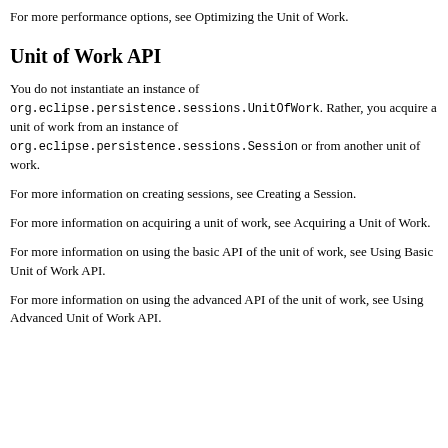For more performance options, see Optimizing the Unit of Work.
Unit of Work API
You do not instantiate an instance of org.eclipse.persistence.sessions.UnitOfWork. Rather, you acquire a unit of work from an instance of org.eclipse.persistence.sessions.Session or from another unit of work.
For more information on creating sessions, see Creating a Session.
For more information on acquiring a unit of work, see Acquiring a Unit of Work.
For more information on using the basic API of the unit of work, see Using Basic Unit of Work API.
For more information on using the advanced API of the unit of work, see Using Advanced Unit of Work API.